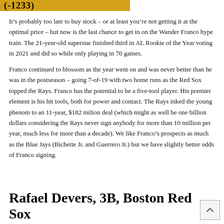(-1233)
It’s probably too late to buy stock – or at least you’re not getting it at the optimal price – but now is the last chance to get in on the Wander Franco hype train. The 21-year-old superstar finished third in AL Rookie of the Year voting in 2021 and did so while only playing in 70 games.
Franco continued to blossom as the year went on and was never better than he was in the postseason – going 7-of-19 with two home runs as the Red Sox topped the Rays. Franco has the potential to be a five-tool player. His premier element is his hit tools, both for power and contact. The Rays inked the young phenom to an 11-year, $182 milion deal (which might as well be one billion dollars considering the Rays never sign anybody for more than 10 million per year, much less for more than a decade). We like Franco’s prospects as much as the Blue Jays (Bichette Jr. and Guerrero Jr.) but we have slightly better odds of Franco signing.
Rafael Devers, 3B, Boston Red Sox